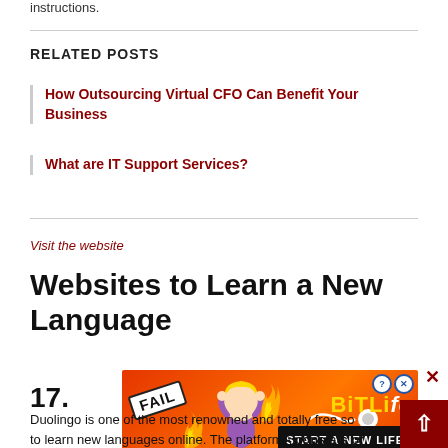instructions.
RELATED POSTS
How Outsourcing Virtual CFO Can Benefit Your Business
What are IT Support Services?
Visit the website
Websites to Learn a New Language
17.
[Figure (illustration): BitLife advertisement banner with FAIL badge, animated character, flames, and 'START A NEW LIFE' tagline on red/orange background]
Duolingo is one of the most renowned and totally free so to learn new languages online. The platform consists of different games that will help you learn a new language. Y